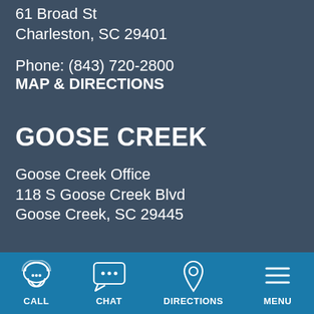61 Broad St
Charleston, SC 29401
Phone: (843) 720-2800
MAP & DIRECTIONS
GOOSE CREEK
Goose Creek Office
118 S Goose Creek Blvd
Goose Creek, SC 29445
CALL  CHAT  DIRECTIONS  MENU